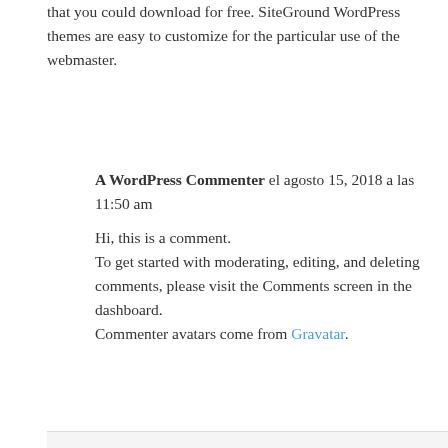that you could download for free. SiteGround WordPress themes are easy to customize for the particular use of the webmaster.
A WordPress Commenter el agosto 15, 2018 a las 11:50 am
Hi, this is a comment. To get started with moderating, editing, and deleting comments, please visit the Comments screen in the dashboard. Commenter avatars come from Gravatar.